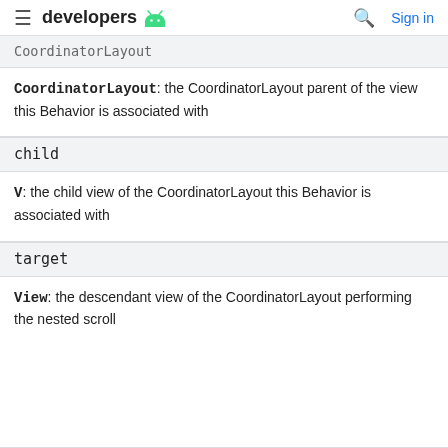developers [android logo] Sign in
CoordinatorLayout
CoordinatorLayout: the CoordinatorLayout parent of the view this Behavior is associated with
child
V: the child view of the CoordinatorLayout this Behavior is associated with
target
View: the descendant view of the CoordinatorLayout performing the nested scroll